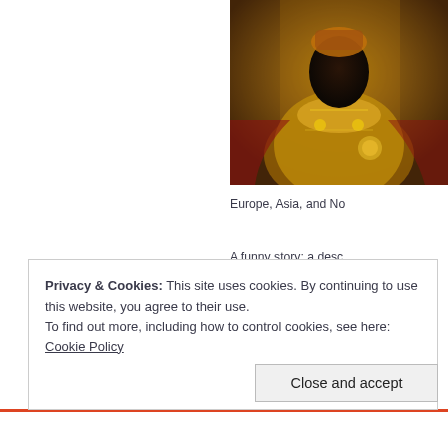[Figure (illustration): Historical painting/illustration of a richly dressed African ruler or king holding a golden orb, wearing ornate golden and jeweled robes, depicted in a regal seated pose]
Europe, Asia, and No
A funny story: a desc Malian Muslims, but l to study three years t
The legacy of these A the Djinguereber Mo the Masjid of Sidi Ya Madagou and the uni
arh
Privacy & Cookies: This site uses cookies. By continuing to use this website, you agree to their use.
To find out more, including how to control cookies, see here: Cookie Policy
Close and accept